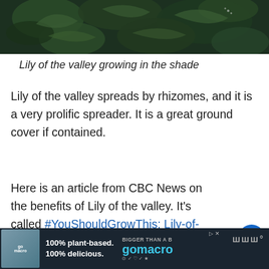[Figure (photo): Dark green leafy plant (lily of the valley foliage) growing in shade, photo cropped at top of page]
Lily of the valley growing in the shade
Lily of the valley spreads by rhizomes, and it is a very prolific spreader. It is a great ground cover if contained.
Here is an article from CBC News on the benefits of Lily of the valley. It's called #YouShouldGrowThis: Lily-of-the-valley is a valuable plant.
[Figure (infographic): Advertisement banner for gomacro: 100% plant-based, 100% delicious, BIGGER THAN A B[ITE] gomacro logo with social panel showing heart button (70 likes) and share button on the right side]